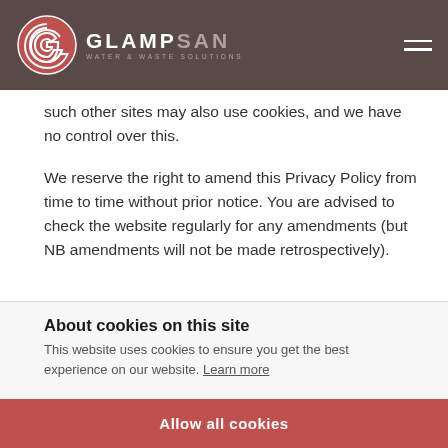[Figure (logo): Glampsan Water & Waste Solutions logo — spiral icon in red/white on dark background, with GLAMPSAN text in white and SAN in grey, and WATER & WASTE SOLUTIONS subtitle]
such other sites may also use cookies, and we have no control over this.
We reserve the right to amend this Privacy Policy from time to time without prior notice. You are advised to check the website regularly for any amendments (but NB amendments will not be made retrospectively).
For more details, please see our GDPR Data Protection Policy.
About cookies on this site
This website uses cookies to ensure you get the best experience on our website. Learn more
Allow all cookies